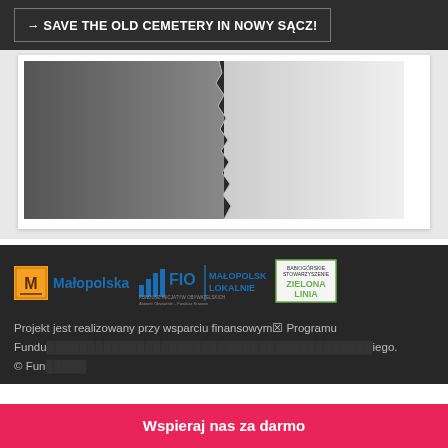→ SAVE THE OLD CEMETERY IN NOWY SĄCZ!
[Figure (photo): Black and white photo of torn paper — left side dark grey, right side light/white, with a jagged torn edge in the center]
[Figure (logo): Małopolska regional logo with orange mountain icon and blue text 'Małopolska']
[Figure (logo): FIO Fundusz Inicjatyw Obywatelskich logo with bar chart icon and text 'MAŁOPOLSKA LOKALNIE']
[Figure (logo): Babiogórskie Stowarzyszenie Zielona Linia logo — green bordered box with text]
Projekt jest realizowany przy wsparciu finansowym Programu Fundu...iego. © Fun...
Wspieraj nas za darmo